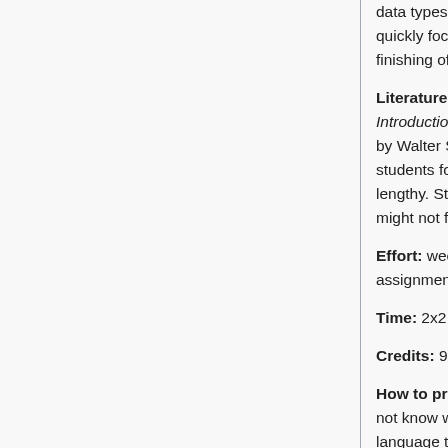data types, variables, conditional statements and loops, before quickly focusing on object oriented programming [external link], and finishing off with file input / output.
Literature: In the WS 2010/11, the first ten chapters of Java: An Introduction to Problem Solving and Programming, 5th Edition by Walter Savitch and Frank Carrano were covered. Many students found the book to be very helpful, although somewhat lengthy. Students who already know a programming language might not find much new information in it, however.
Effort: weekly homework, weekly lab sessions with extra assignments, two exams, presence during lectures required
Time: 2x2 hours + 4 hours lab session each week
Credits: 9 ECTS
How to prepare: Learn any programming language. If you do not know which one to start with, learn Java, as it is the language taught in